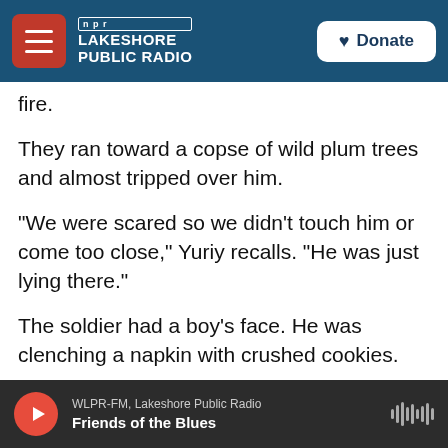NPR | Lakeshore Public Radio | Donate
fire.
They ran toward a copse of wild plum trees and almost tripped over him.
"We were scared so we didn't touch him or come too close," Yuriy recalls. "He was just lying there."
The soldier had a boy's face. He was clenching a napkin with crushed cookies.
"He was missing his firearm," Yuriy says. "But he had his helmet and a bulletproof vest, and, I think, also a knife. And a flask, maybe with water."
WLPR-FM, Lakeshore Public Radio
Friends of the Blues